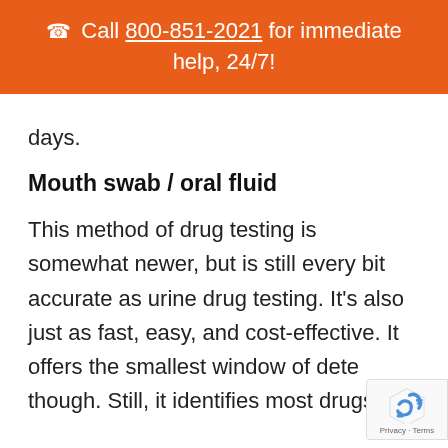Call 800-851-2021 for immediate help, 24/7!
days.
Mouth swab / oral fluid
This method of drug testing is somewhat newer, but is still every bit accurate as urine drug testing. It's also just as fast, easy, and cost-effective. It offers the smallest window of detection though. Still, it identifies most drugs